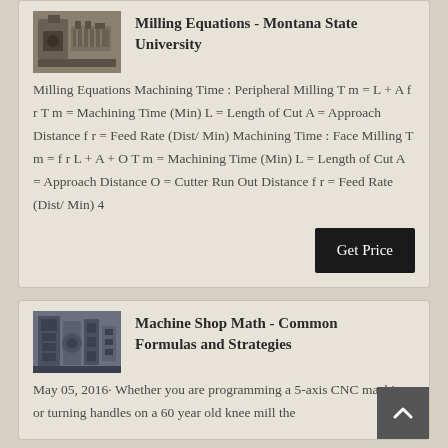[Figure (photo): Industrial milling machine equipment photo (top card)]
Milling Equations - Montana State University
Milling Equations Machining Time : Peripheral Milling T m = L + A f r T m = Machining Time (Min) L = Length of Cut A = Approach Distance f r = Feed Rate (Dist/ Min) Machining Time : Face Milling T m = f r L + A + O T m = Machining Time (Min) L = Length of Cut A = Approach Distance O = Cutter Run Out Distance f r = Feed Rate (Dist/ Min) 4
[Figure (photo): Industrial machine shop equipment photo (bottom card)]
Machine Shop Math - Common Formulas and Strategies
May 05, 2016· Whether you are programming a 5-axis CNC machine or turning handles on a 60 year old knee mill the